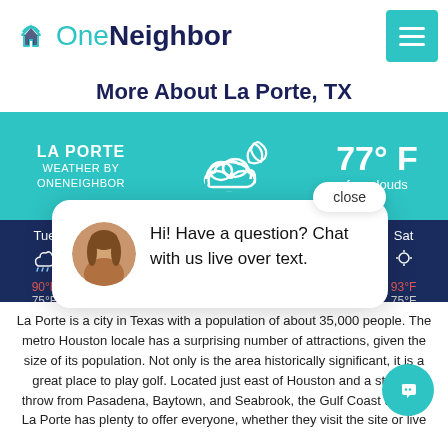[Figure (logo): OneNeighbor logo with teal house icon and text]
More About La Porte, TX
[Figure (infographic): LA PORTE WEATHER BY ONENEIGHBOR banner showing 77°F few clouds with cloud/moon icon]
[Figure (infographic): Weather forecast bar showing Tue, Wed, Thu (active), Fri, Sat days with icons and temperatures. Tue shows 90°F / 75°F]
[Figure (screenshot): Chat popup with close button, avatar photo of woman, text: Hi! Have a question? Chat with us live over text.]
La Porte is a city in Texas with a population of about 35,000 people. The metro Houston locale has a surprising number of attractions, given the size of its population. Not only is the area historically significant, it is a great place to play golf. Located just east of Houston and a stone's throw from Pasadena, Baytown, and Seabrook, the Gulf Coast town of La Porte has plenty to offer everyone, whether they visit the site or live there.